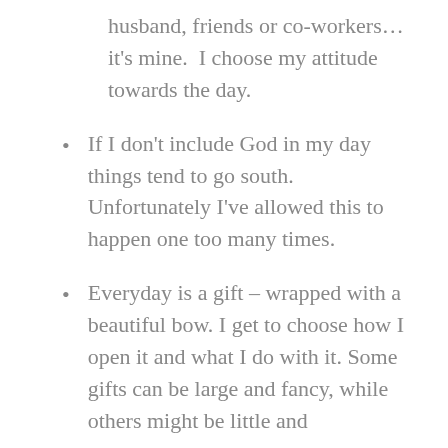husband, friends or co-workers… it's mine.  I choose my attitude towards the day.
If I don't include God in my day things tend to go south. Unfortunately I've allowed this to happen one too many times.
Everyday is a gift – wrapped with a beautiful bow. I get to choose how I open it and what I do with it. Some gifts can be large and fancy, while others might be little and